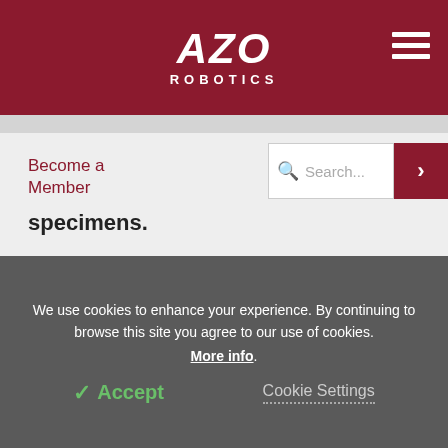AZO ROBOTICS
Become a Member
specimens.
We use cookies to enhance your experience. By continuing to browse this site you agree to our use of cookies. More info.
Accept
Cookie Settings